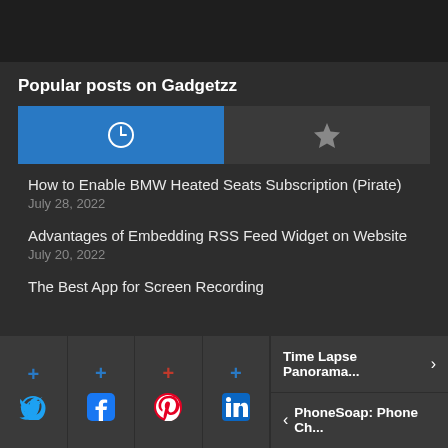Popular posts on Gadgetzz
[Figure (screenshot): Tab bar with two tabs: an active blue tab with a clock icon and an inactive grey tab with a star icon]
How to Enable BMW Heated Seats Subscription (Pirate)
July 28, 2022
Advantages of Embedding RSS Feed Widget on Website
July 20, 2022
The Best App for Screen Recording
[Figure (screenshot): Bottom navigation bar with four social share buttons (Twitter, Facebook, Pinterest, LinkedIn) and two navigation links: Time Lapse Panorama... and PhoneSoap: Phone Ch...]